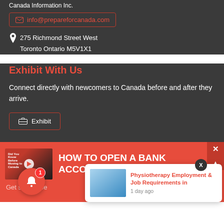Canada Information Inc.
info@prepareforcanada.com
275 Richmond Street West
Toronto Ontario M5V1X1
Exhibit With Us
Connect directly with newcomers to Canada before and after they arrive.
Exhibit
[Figure (screenshot): HOW TO OPEN A BANK ACCOUNT video banner with thumbnail]
Get started be...
[Figure (screenshot): Notification popup: Physiotherapy Employment & Job Requirements in, 1 day ago]